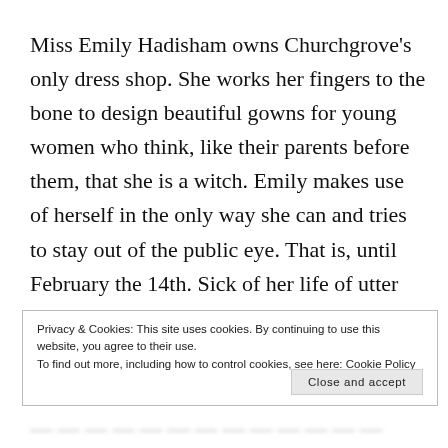Miss Emily Hadisham owns Churchgrove's only dress shop. She works her fingers to the bone to design beautiful gowns for young women who think, like their parents before them, that she is a witch. Emily makes use of herself in the only way she can and tries to stay out of the public eye. That is, until February the 14th. Sick of her life of utter and complete loneliness, Emily throws caution to the winds and takes a chance to find her happiness.
Privacy & Cookies: This site uses cookies. By continuing to use this website, you agree to their use.
To find out more, including how to control cookies, see here: Cookie Policy
Close and accept